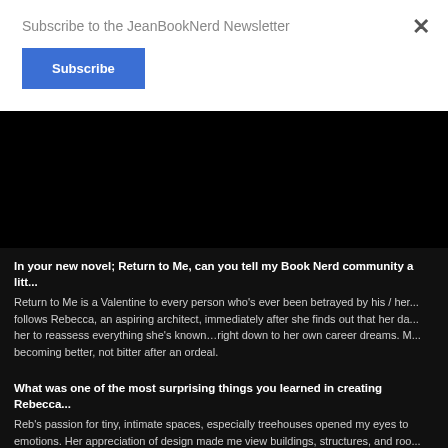Subscribe to the JeanBookNerd Newsletter
Subscribe
In your new novel; Return to Me, can you tell my Book Nerd community a little about it?
Return to Me is a Valentine to every person who's ever been betrayed by his / her own family. It follows Rebecca, an aspiring architect, immediately after she finds out that her dad... her to reassess everything she's known...right down to her own career dreams. M... becoming better, not bitter after an ordeal.
What was one of the most surprising things you learned in creating Rebecca?
Reb's passion for tiny, intimate spaces, especially treehouses opened my eyes to emotions. Her appreciation of design made me view buildings, structures, and roo... appreciative eye.
For those who are unfamiliar with Jackson, how would you introduce him?
Jackson drives at one speed: sexy. Need I say more?
You have the chance to give one piece of advice to your readers. What woul...
Nothing is ever wasted in life. Nothing, not even the hard and horrible experiences... willing to do the work, you can become such a much better, much stronger an...